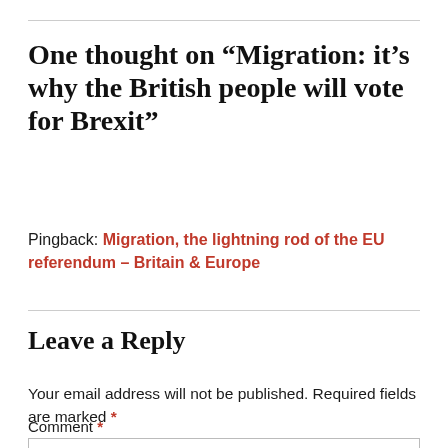One thought on “Migration: it’s why the British people will vote for Brexit”
Pingback: Migration, the lightning rod of the EU referendum – Britain & Europe
Leave a Reply
Your email address will not be published. Required fields are marked *
Comment *